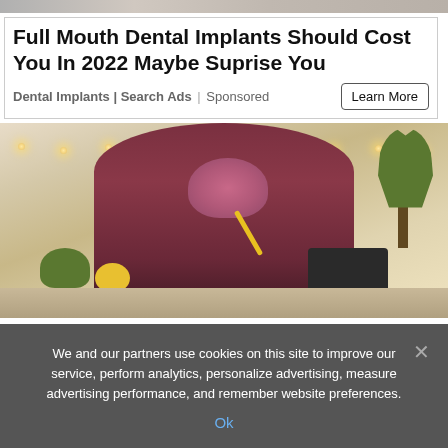[Figure (photo): Top strip showing partial images of people at top of page (cropped)]
Full Mouth Dental Implants Should Cost You In 2022 Maybe Suprise You
Dental Implants | Search Ads | Sponsored
[Figure (photo): Young woman with pink hair wearing a dark red hoodie, leaning over a table writing with a yellow pencil. A laptop is open nearby. There are vegetables (broccoli, lemon) on the table. Warm bokeh string lights are visible in the background along with a plant.]
We and our partners use cookies on this site to improve our service, perform analytics, personalize advertising, measure advertising performance, and remember website preferences.